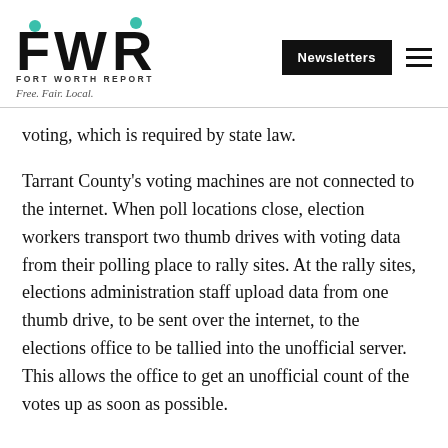[Figure (logo): Fort Worth Report logo with FWR letters and teal dots, FORT WORTH REPORT subtitle, Free. Fair. Local. tagline]
voting, which is required by state law.
Tarrant County’s voting machines are not connected to the internet. When poll locations close, election workers transport two thumb drives with voting data from their polling place to rally sites. At the rally sites, elections administration staff upload data from one thumb drive, to be sent over the internet, to the elections office to be tallied into the unofficial server. This allows the office to get an unofficial count of the votes up as soon as possible.